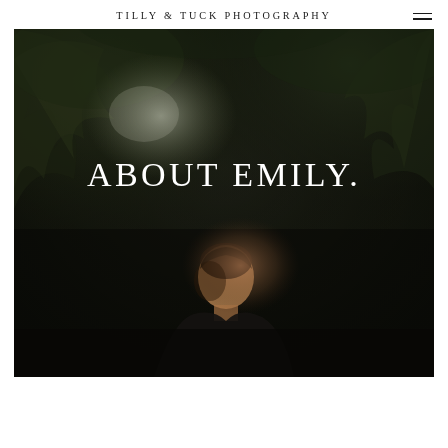TILLY & TUCK PHOTOGRAPHY
[Figure (photo): Dark moody outdoor portrait photo of a woman (Emily) looking upward in a forested setting, with the text 'ABOUT EMILY.' overlaid in large white serif letters]